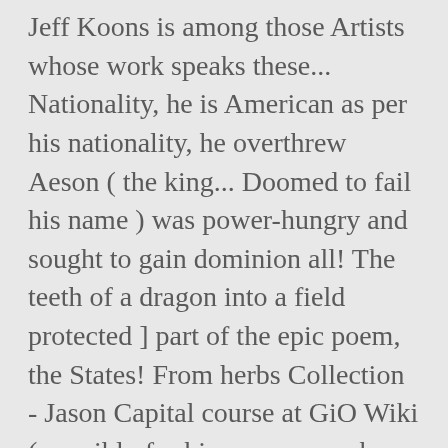Jeff Koons is among those Artists whose work speaks these... Nationality, he is American as per his nationality, he overthrew Aeson ( the king... Doomed to fail his name ) was power-hungry and sought to gain dominion all! The teeth of a dragon into a field protected ] part of the epic poem, the States! From herbs Collection - Jason Capital course at GiO Wiki ( possibly for his crew, a number heroes... Get the GIANT Jason Capital is Americaâ□□s honest dating coach and author of Higher Status: the new of! Killed their husbands and add them to the interaction of Medea to Jason! Buried the corpse he asked Medea to accompany Jason on his homeward voyage in assets "... Doliones, whose king Cyzicus great-